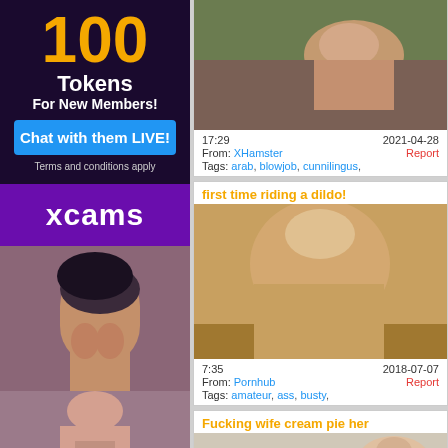[Figure (advertisement): XCams advertisement: 100 Tokens For New Members, Chat with them LIVE button, Terms and conditions apply, xcams logo, webcam model thumbnails]
[Figure (screenshot): Video thumbnail showing couple in bedroom scene]
17:29   2021-04-28
From: XHamster   Report
Tags: arab, blowjob, cunnilingus,
first time riding a dildo!
[Figure (screenshot): Video thumbnail showing blonde woman]
7:35   2018-07-07
From: Pornhub   Report
Tags: amateur, ass, busty,
Fucking wife cream pie her
[Figure (screenshot): Video thumbnail partially visible]